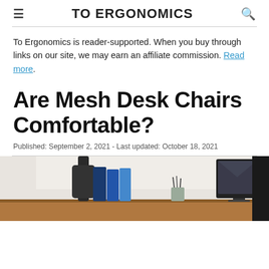TO ERGONOMICS
To Ergonomics is reader-supported. When you buy through links on our site, we may earn an affiliate commission. Read more.
Are Mesh Desk Chairs Comfortable?
Published: September 2, 2021 - Last updated: October 18, 2021
[Figure (photo): Office desk scene with a mesh chair, binders, monitor, and pencil holder on a wooden desk with a white brick wall background.]